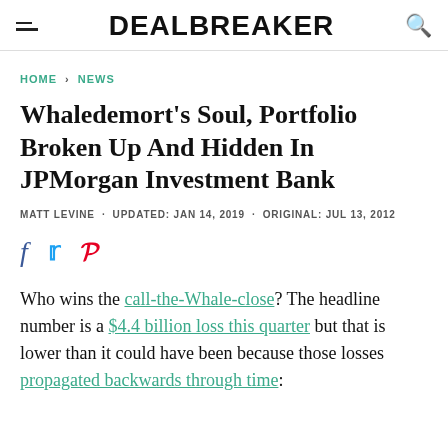DEALBREAKER
HOME > NEWS
Whaledemort's Soul, Portfolio Broken Up And Hidden In JPMorgan Investment Bank
MATT LEVINE · UPDATED: JAN 14, 2019 · ORIGINAL: JUL 13, 2012
[Figure (other): Social share icons: Facebook, Twitter, Pinterest]
Who wins the call-the-Whale-close? The headline number is a $4.4 billion loss this quarter but that is lower than it could have been because those losses propagated backwards through time: